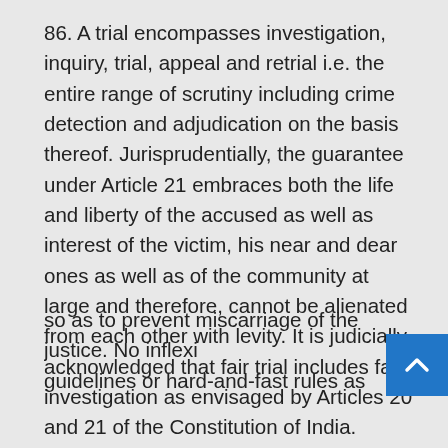86. A trial encompasses investigation, inquiry, trial, appeal and retrial i.e. the entire range of scrutiny including crime detection and adjudication on the basis thereof. Jurisprudentially, the guarantee under Article 21 embraces both the life and liberty of the accused as well as interest of the victim, his near and dear ones as well as of the community at large and therefore, cannot be alienated from each other with levity. It is judicially acknowledged that fair trial includes fair investigation as envisaged by Articles 20 and 21 of the Constitution of India. Though well-demarcated contours of crime detection and adjudication do exist, if the investigation is neither effective nor purposeful nor objective nor fair, it would be the solemn obligation of the courts, if considered necessary, to order further investigation or reinvestigation as the case may be, to discover the tru… so as to prevent miscarriage of the justice. No inflexi… guidelines or hard-and-fast rules as such can be prescribed by way of uniform and universal invocation